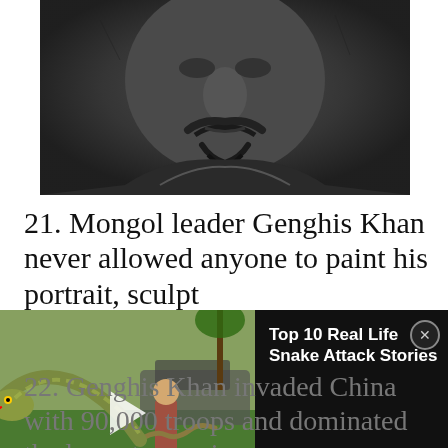[Figure (photo): Close-up of a dark bronze statue face — Genghis Khan sculpture showing detailed facial features including mustache and beard, dark metallic texture]
21. Mongol leader Genghis Khan never allowed anyone to paint his portrait, sculpt
[Figure (screenshot): Video ad overlay showing 'Top 10 Real Life Snake Attack Stories' with thumbnail of man holding a snake and WatchMojo logo]
22. Genghis Khan invaded China with 90,000 troops and dominated the largest army in